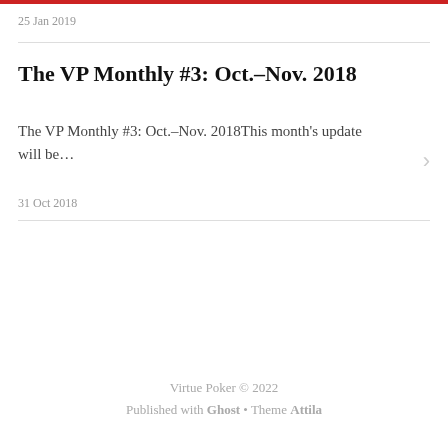25 Jan 2019
The VP Monthly #3: Oct.–Nov. 2018
The VP Monthly #3: Oct.–Nov. 2018This month's update will be…
31 Oct 2018
Virtue Poker © 2022
Published with Ghost • Theme Attila